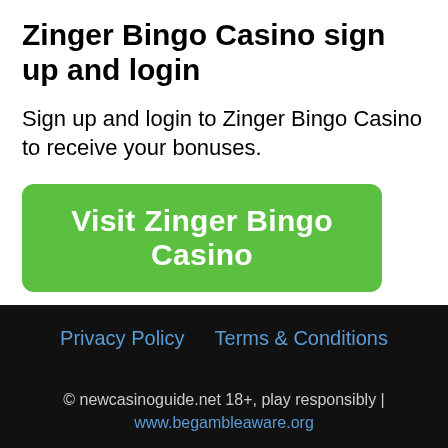Zinger Bingo Casino sign up and login
Sign up and login to Zinger Bingo Casino to receive your bonuses.
[Figure (other): Green rounded button with white bold text: Visit Zinger Bingo Casino]
T&C Apply
Privacy Policy   Terms & Conditions
© newcasinoguide.net 18+, play responsibly | www.begambleaware.org